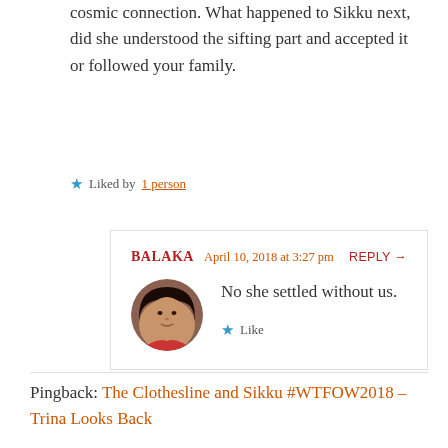cosmic connection. What happened to Sikku next, did she understood the sifting part and accepted it or followed your family.
Liked by 1 person
BALAKA  April 10, 2018 at 3:27 pm  REPLY →
No she settled without us.
Like
Pingback: The Clothesline and Sikku #WTFOW2018 – Trina Looks Back